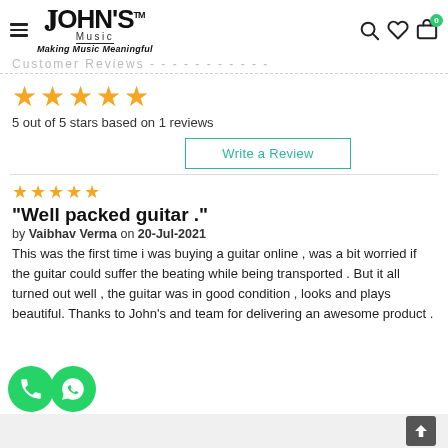JOHN'S Music — Making Music Meaningful
Customer Reviews
[Figure (other): 5 gold stars rating]
5 out of 5 stars based on 1 reviews
Write a Review
[Figure (other): 5 gold stars rating for individual review]
"Well packed guitar ."
by Vaibhav Verma on 20-Jul-2021
This was the first time i was buying a guitar online , was a bit worried if the guitar could suffer the beating while being transported . But it all turned out well , the guitar was in good condition , looks and plays beautiful. Thanks to John's and team for delivering an awesome product .